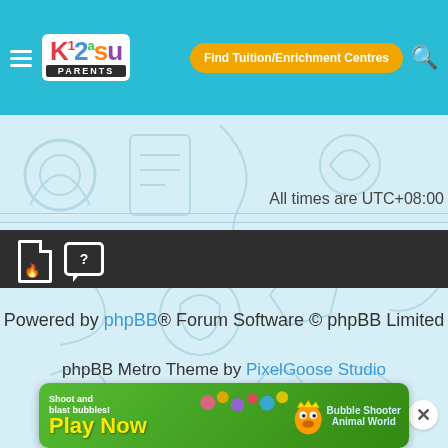[Figure (screenshot): Kiasu Parents website header with logo, hamburger menu, Find Tuition/Enrichment Centres button, and search icon on cyan background]
[Figure (screenshot): Dark toolbar with document/fire icon and chat/question mark icon]
All times are UTC+08:00
It is currently Thu Sep 01, 2022 6:47 pm
Powered by phpBB® Forum Software © phpBB Limited
phpBB Metro Theme by PixelGoose Studio
CONNECT WITH US
[Figure (screenshot): Advertisement banner: Shoot and blast bubbles! Play Now - Bubble Shooter Animal World game ad]